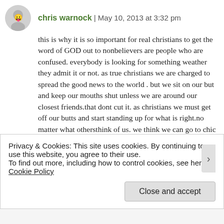chris warnock | May 10, 2013 at 3:32 pm
this is why it is so important for real christians to get the word of GOD out to nonbelievers are people who are confused. everybody is looking for something weather they admit it or not. as true christians we are charged to spread the good news to the world . but we sit on our but and keep our mouths shut unless we are around our closest friends.that dont cut it. as christians we must get off our butts and start standing up for what is right.no matter what othersthink of us. we think we can go to chic filet once a year and cast a vote once every four years and we think we have done our part. when is the last time you told someone about jesus and what he did for you. and what will happen if you dont recieve him.
Privacy & Cookies: This site uses cookies. By continuing to use this website, you agree to their use.
To find out more, including how to control cookies, see here: Cookie Policy